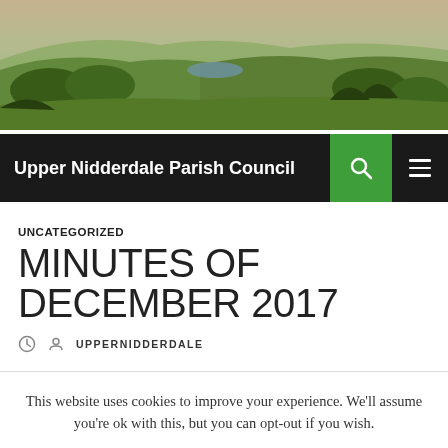[Figure (photo): Aerial landscape photo of Upper Nidderdale valley with green hills, trees, and a lake/reservoir in the distance under a hazy sky.]
Upper Nidderdale Parish Council
UNCATEGORIZED
MINUTES OF DECEMBER 2017
UPPERNIDDERDALE
This website uses cookies to improve your experience. We'll assume you're ok with this, but you can opt-out if you wish. Accept Reject Read More